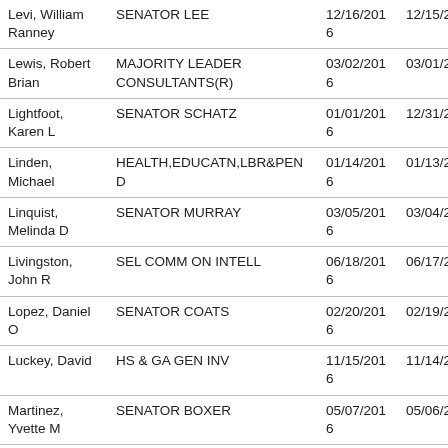| Levi, William Ranney | SENATOR LEE | 12/16/2016 | 12/15/2017 |
| Lewis, Robert Brian | MAJORITY LEADER CONSULTANTS(R) | 03/02/2016 | 03/01/2017 |
| Lightfoot, Karen L | SENATOR SCHATZ | 01/01/2016 | 12/31/2016 |
| Linden, Michael | HEALTH,EDUCATN,LBR&PEN D | 01/14/2016 | 01/13/2017 |
| Linquist, Melinda D | SENATOR MURRAY | 03/05/2016 | 03/04/2017 |
| Livingston, John R | SEL COMM ON INTELL | 06/18/2016 | 06/17/2017 |
| Lopez, Daniel O | SENATOR COATS | 02/20/2016 | 02/19/2017 |
| Luckey, David | HS & GA GEN INV | 11/15/2016 | 11/14/2017 |
| Martinez, Yvette M | SENATOR BOXER | 05/07/2016 | 05/06/2017 |
| Mashburn, John K | SENATOR TILLIS | 01/19/2016 | 01/18/2017 |
| Matheson, | SENATOR LEE | 02/02/2016 | 02/01/2017 |